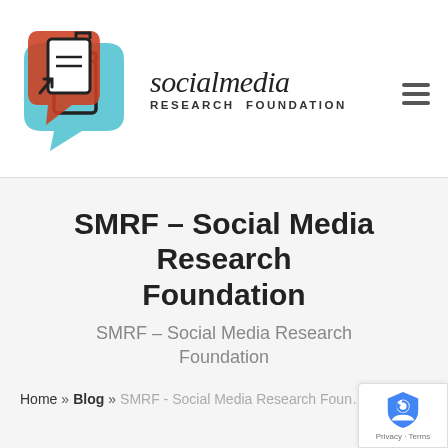[Figure (logo): Social Media Research Foundation logo — two overlapping speech-bubble document icons in red/orange and teal, with text 'socialmedia' in italic serif and 'RESEARCH FOUNDATION' in small caps below]
SMRF – Social Media Research Foundation
SMRF – Social Media Research Foundation
Home » Blog » SMRF - Social Media Research Foundation
[Figure (logo): Google reCAPTCHA badge with shield icon and 'Privacy · Terms' text]